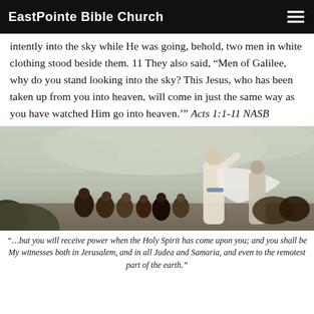EastPointe Bible Church
intently into the sky while He was going, behold, two men in white clothing stood beside them. 11 They also said, “Men of Galilee, why do you stand looking into the sky? This Jesus, who has been taken up from you into heaven, will come in just the same way as you have watched Him go into heaven.’” Acts 1:1-11 NASB
[Figure (illustration): Religious painting depicting the Ascension of Jesus, showing a group of disciples looking upward at a figure in white robes ascending into a cloudy sky.]
“…but you will receive power when the Holy Spirit has come upon you; and you shall be My witnesses both in Jerusalem, and in all Judea and Samaria, and even to the remotest part of the earth.”